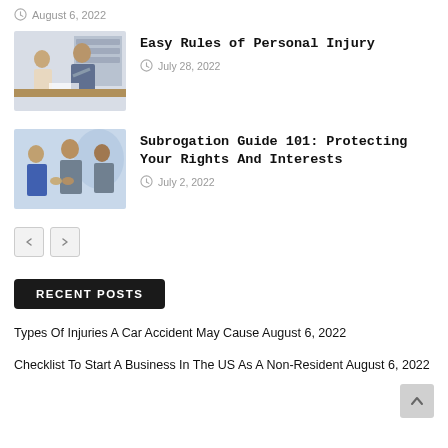August 6, 2022
[Figure (photo): Office meeting scene with two people consulting at a desk]
Easy Rules of Personal Injury
July 28, 2022
[Figure (photo): Business people shaking hands in an office setting]
Subrogation Guide 101: Protecting Your Rights And Interests
July 2, 2022
RECENT POSTS
Types Of Injuries A Car Accident May Cause August 6, 2022
Checklist To Start A Business In The US As A Non-Resident August 6, 2022